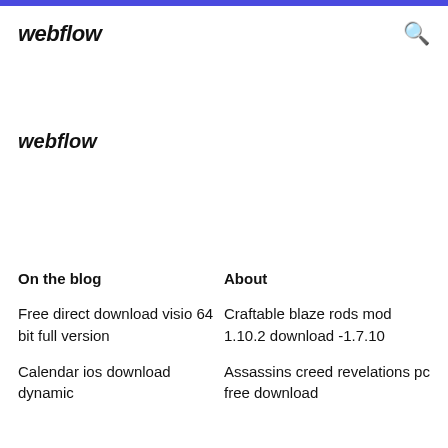webflow
webflow
On the blog
About
Free direct download visio 64 bit full version
Calendar ios download dynamic
Craftable blaze rods mod 1.10.2 download -1.7.10
Assassins creed revelations pc free download